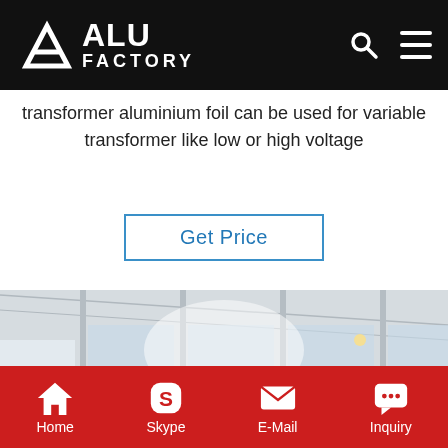ALU FACTORY
transformer aluminium foil can be used for variable transformer like low or high voltage
Get Price
[Figure (photo): A large industrial warehouse/factory interior with a worker in a yellow hard hat standing next to very large rolls of aluminium foil stacked on the floor. The rolls are silver-colored and bound with green straps. The factory has a high ceiling with steel roof trusses and large windows.]
Home   Skype   E-Mail   Inquiry